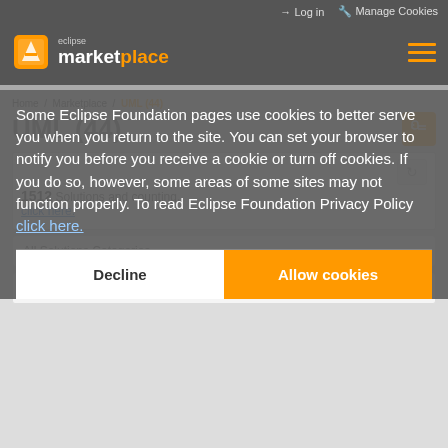Log in   Manage Cookies
[Figure (logo): Eclipse Marketplace logo with orange box icon and text 'eclipse marketplace' where 'place' is in orange]
Home / Marketplace / UML (44)
UML (44)
1512 Solutions and counting.
click here.
All Solutions Categories
All Markets
Some Eclipse Foundation pages use cookies to better serve you when you return to the site. You can set your browser to notify you before you receive a cookie or turn off cookies. If you do so, however, some areas of some sites may not function properly. To read Eclipse Foundation Privacy Policy click here.
Decline
Allow cookies